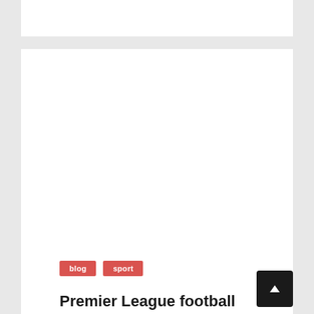[Figure (other): White blank advertisement or image box at the top of the page]
[Figure (other): Large white blank advertisement or content image area in the main card]
blog
sport
Premier League football transfers rumors
The Premier League is the top division of English...